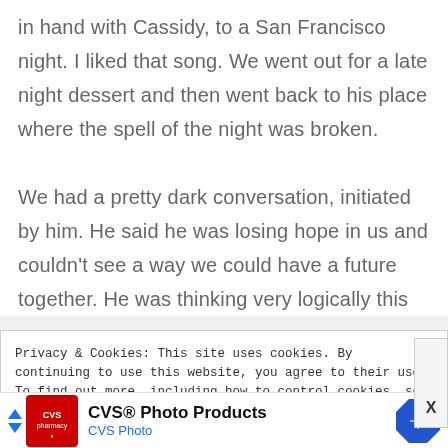in hand with Cassidy, to a San Francisco night. I liked that song. We went out for a late night dessert and then went back to his place where the spell of the night was broken.

We had a pretty dark conversation, initiated by him. He said he was losing hope in us and couldn't see a way we could have a future together. He was thinking very logically this
Privacy & Cookies: This site uses cookies. By continuing to use this website, you agree to their use.
To find out more, including how to control cookies, see here: Cookie Policy
[Figure (other): CVS Photo Products advertisement banner with CVS pharmacy logo, text 'CVS® Photo Products' and 'CVS Photo', and a blue diamond navigation arrow icon]